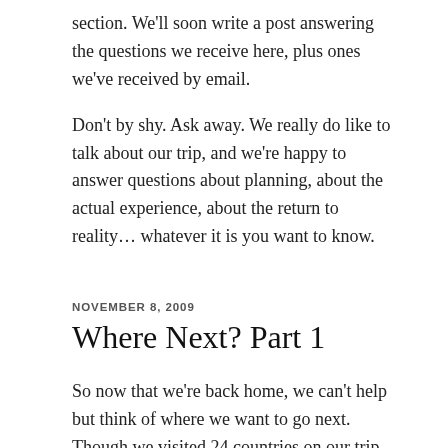section. We'll soon write a post answering the questions we receive here, plus ones we've received by email.
Don't by shy. Ask away. We really do like to talk about our trip, and we're happy to answer questions about planning, about the actual experience, about the return to reality… whatever it is you want to know.
NOVEMBER 8, 2009
Where Next? Part 1
So now that we're back home, we can't help but think of where we want to go next. Though we visited 24 countries on our trip, our world did not get any smaller. In fact, I think it got bigger. The more you travel, the more places you want to go.